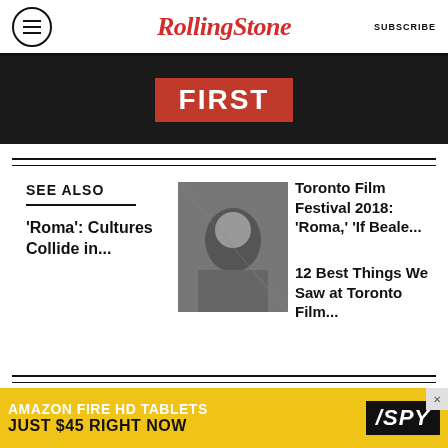Rolling Stone | SUBSCRIBE
[Figure (photo): Black and white photo banner with red 'FIRST' text overlay on dark background]
SEE ALSO
'Roma': Cultures Collide in...
[Figure (photo): Black and white photo of a woman looking out of a car window]
Toronto Film Festival 2018: 'Roma,' 'If Beale...
12 Best Things We Saw at Toronto Film...
At first, it seems like the mother, Sofia (Marina de Tavira), is the center of activity in this bustling, upper-middle-class household, with comic relief
[Figure (other): Amazon Fire HD Tablets advertisement banner: 'AMAZON FIRE HD TABLETS JUST $45 RIGHT NOW' with SPY logo]